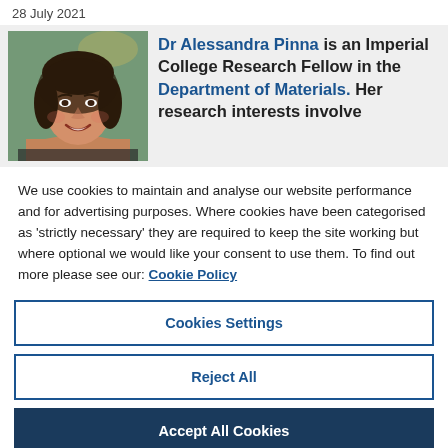28 July 2021
[Figure (photo): Headshot of Dr Alessandra Pinna, a woman with dark hair, smiling, taken indoors.]
Dr Alessandra Pinna is an Imperial College Research Fellow in the Department of Materials. Her research interests involve
We use cookies to maintain and analyse our website performance and for advertising purposes. Where cookies have been categorised as ‘strictly necessary’ they are required to keep the site working but where optional we would like your consent to use them. To find out more please see our: Cookie Policy
Cookies Settings
Reject All
Accept All Cookies